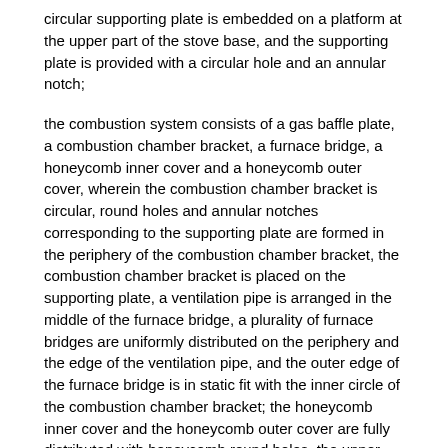circular supporting plate is embedded on a platform at the upper part of the stove base, and the supporting plate is provided with a circular hole and an annular notch;
the combustion system consists of a gas baffle plate, a combustion chamber bracket, a furnace bridge, a honeycomb inner cover and a honeycomb outer cover, wherein the combustion chamber bracket is circular, round holes and annular notches corresponding to the supporting plate are formed in the periphery of the combustion chamber bracket, the combustion chamber bracket is placed on the supporting plate, a ventilation pipe is arranged in the middle of the furnace bridge, a plurality of furnace bridges are uniformly distributed on the periphery and the edge of the ventilation pipe, and the outer edge of the furnace bridge is in static fit with the inner circle of the combustion chamber bracket; the honeycomb inner cover and the honeycomb outer cover are fully distributed with honeycomb round holes, the upper end of the honeycomb inner cover is closed, the lower end of the honeycomb inner cover is inserted on the periphery of the furnace bridge ventilation pipe, the upper end of the honeycomb outer cover is inserted in the middle of the centering plate